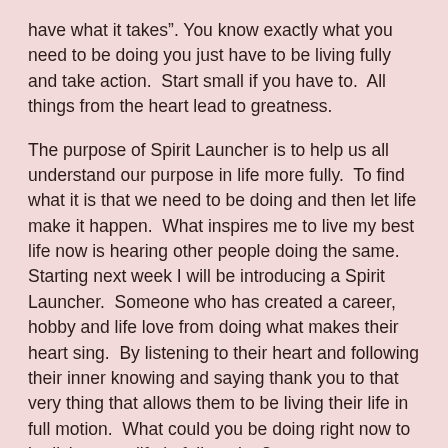have what it takes". You know exactly what you need to be doing you just have to be living fully and take action.  Start small if you have to.  All things from the heart lead to greatness.
The purpose of Spirit Launcher is to help us all understand our purpose in life more fully.  To find what it is that we need to be doing and then let life make it happen.  What inspires me to live my best life now is hearing other people doing the same.  Starting next week I will be introducing a Spirit Launcher.  Someone who has created a career, hobby and life love from doing what makes their heart sing.  By listening to their heart and following their inner knowing and saying thank you to that very thing that allows them to be living their life in full motion.  What could you be doing right now to be living your life in full motion?
As always with love,
Jennifer
P.S.  Follow me on Twitter @jfremion.
Email me at jfremionfwgmail.com for any questions or